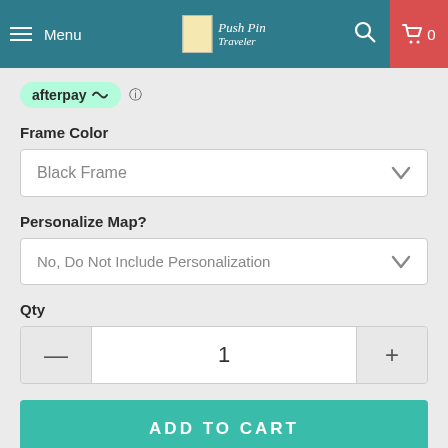Menu | Push Pin Traveler | 🔍 | 🛒 0
[Figure (logo): Afterpay logo badge with mint green rounded pill shape]
Frame Color
Black Frame
Personalize Map?
No, Do Not Include Personalization
Qty
1
ADD TO CART